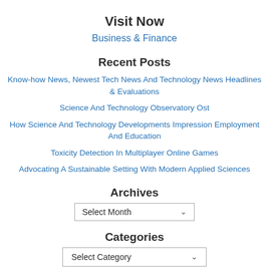Visit Now
Business & Finance
Recent Posts
Know-how News, Newest Tech News And Technology News Headlines & Evaluations
Science And Technology Observatory Ost
How Science And Technology Developments Impression Employment And Education
Toxicity Detection In Multiplayer Online Games
Advocating A Sustainable Setting With Modern Applied Sciences
Archives
Select Month
Categories
Select Category
About Us